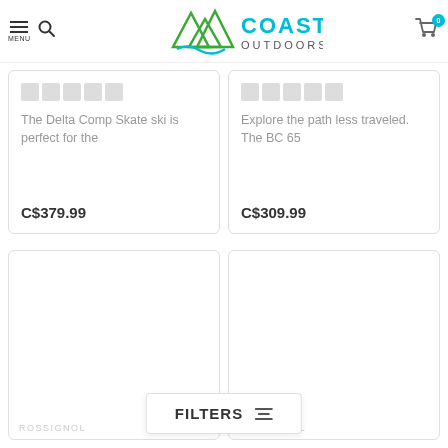[Figure (logo): Coast Outdoors logo with mountain triangles and wave/river graphic in green and teal, company name in teal/cyan text]
The Delta Comp Skate ski is perfect for the
C$379.99
Explore the path less traveled. The BC 65
C$309.99
ROSSIGNOL
ROSSIGNOL
FILTERS